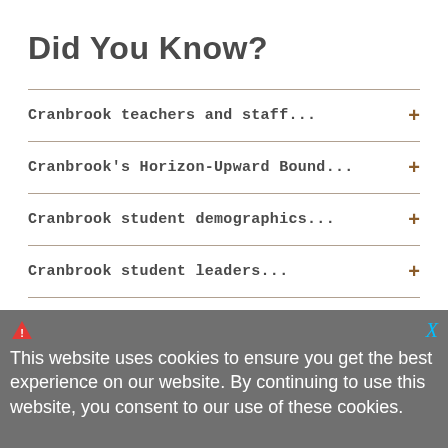Did You Know?
Cranbrook teachers and staff...
Cranbrook's Horizon-Upward Bound...
Cranbrook student demographics...
Cranbrook student leaders...
Cranbrook people...
Cranbrook alums...
This website uses cookies to ensure you get the best experience on our website. By continuing to use this website, you consent to our use of these cookies.